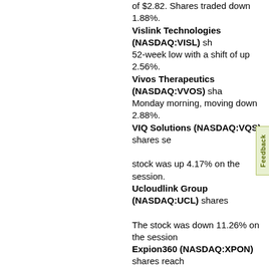of $2.82. Shares traded down 1.88%.
Vislink Technologies (NASDAQ:VISL) shares hit a new 52-week low with a shift of up 2.56%.
Vivos Therapeutics (NASDAQ:VVOS) shares fell on Monday morning, moving down 2.88%.
VIQ Solutions (NASDAQ:VQS) shares set a new 52-week low. The stock was up 4.17% on the session.
Ucloudlink Group (NASDAQ:UCL) shares set a new 52-week low. The stock was down 11.26% on the session.
Expion360 (NASDAQ:XPON) shares reached a new 52-week low in the morning, moving down 1.2%.
HyreCar (NASDAQ:HYRE) shares were up on a new 52-week low of $1.46.
LiqTech International (NASDAQ:LIQT) stock hit a new 52-week low with a shift of down 1.83%.
Eloxx Pharmaceuticals (NASDAQ:ELOX) shares set a new 52-week low. The stock was 0.0% (flat) for the day.
ComSovereign Holding (NASDAQ:COMS) stock set a new 52-week low for a change of down 12%.
Ontrak (NASDAQ:OTRK) stock hit a new 52-week low. The stock was down 2.6% on the session.
Monopar Therapeutics (NASDAQ:MNPR) stock set a new 52-week low. The stock was down 3.36% on the session.
Pineapple Energy (NASDAQ:PEGY) shares fell to a new 52-week low of $3.85, drifting down 4.1%.
Marker Therapeutics (NASDAQ:MRKR) stock set a new 52-week low this morning. The stock was down 1.37% on the session.
Data I/O (NASDAQ:DAIO) stock hit a new 52-week low. The stock was down 4.06% on the session.
Biocept (NASDAQ:BIOC) shares made a new 52-week low. The stock was 0.0% (flat) for the day.